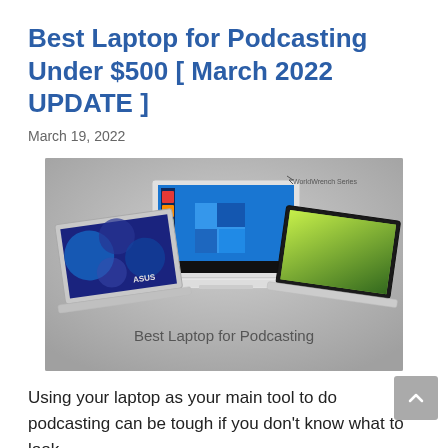Best Laptop for Podcasting Under $500 [ March 2022 UPDATE ]
March 19, 2022
[Figure (photo): Three laptops displayed side by side on a gray background — an ASUS laptop on the left showing a blue wallpaper, an HP laptop in the center showing Windows 10 desktop, and an Acer laptop on the right showing a green gradient wallpaper. Text overlay reads 'Best Laptop for Podcasting'. WorldWrench logo in upper right.]
Using your laptop as your main tool to do podcasting can be tough if you don't know what to look ...